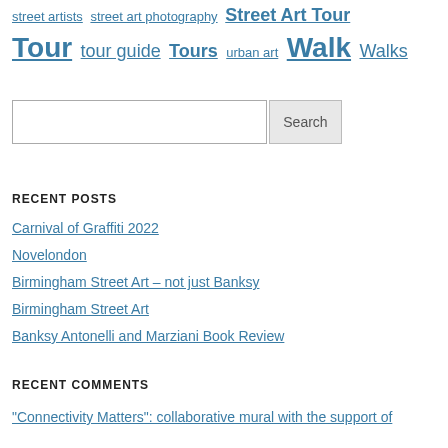street artists   street art photography   Street Art Tour   Tour   tour guide   Tours   urban art   Walk   Walks
[Figure (screenshot): Search input field with Search button]
RECENT POSTS
Carnival of Graffiti 2022
Novelondon
Birmingham Street Art – not just Banksy
Birmingham Street Art
Banksy Antonelli and Marziani Book Review
RECENT COMMENTS
"Connectivity Matters": collaborative mural with the support of